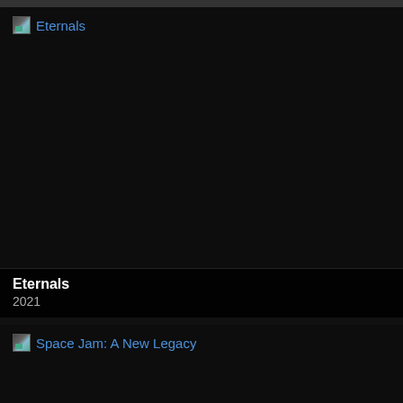[Figure (screenshot): Top bar / scroll indicator at top of page]
Eternals
Eternals
2021
Space Jam: A New Legacy
Space Jam: A New Legacy
2021
The Suicide Squad